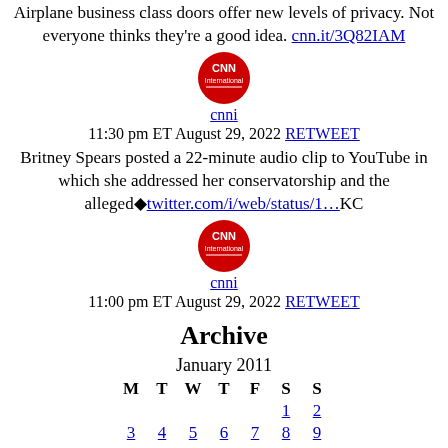Airplane business class doors offer new levels of privacy. Not everyone thinks they're a good idea. cnn.it/3Q82IAM
[Figure (logo): CNN International red circular logo]
cnni
11:30 pm ET August 29, 2022 RETWEET
Britney Spears posted a 22-minute audio clip to YouTube in which she addressed her conservatorship and the alleged♦twitter.com/i/web/status/1…KC
[Figure (logo): CNN International red circular logo]
cnni
11:00 pm ET August 29, 2022 RETWEET
Archive
January 2011
| M | T | W | T | F | S | S |
| --- | --- | --- | --- | --- | --- | --- |
|  |  |  |  |  | 1 | 2 |
| 3 | 4 | 5 | 6 | 7 | 8 | 9 |
| 10 | 11 | 12 | 13 | 14 | 15 | 16 |
| 17 | 18 | 19 | 20 | 21 | 22 | 23 |
| 24 | 25 | 26 | 27 | 28 | 29 | 30 |
| 31 |  |  |  |  |  |  |
« Feb